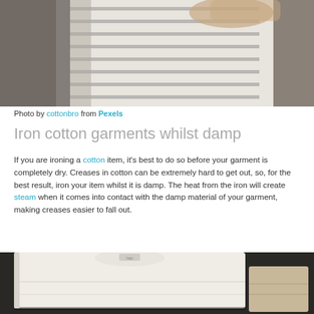[Figure (photo): A person holding a white and grey striped cotton garment or cloth against a concrete/neutral background.]
Photo by cottonbro from Pexels
Iron cotton garments whilst damp
If you are ironing a cotton item, it's best to do so before your garment is completely dry. Creases in cotton can be extremely hard to get out, so, for the best result, iron your item whilst it is damp. The heat from the iron will create steam when it comes into contact with the damp material of your garment, making creases easier to fall out.
[Figure (photo): A folded white cotton t-shirt or garment stacked neatly on a dark surface, with another folded item partially visible beside it.]